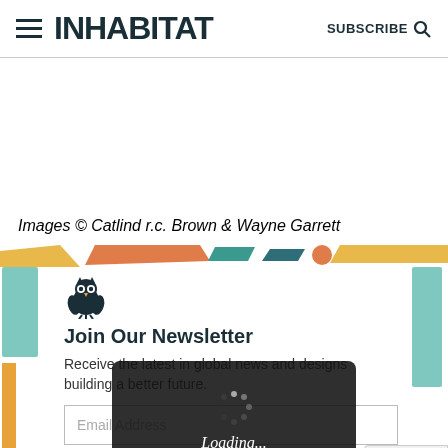INHABITAT — SUBSCRIBE
Images © Catlind r.c. Brown & Wayne Garrett
[Figure (infographic): Colorful decorative banner with parallelogram shapes in yellow, orange, teal, and other colors as a section divider]
[Figure (logo): Inhabitat owl logo icon in dark navy blue]
Join Our Newsletter
Receive the latest in global news and designs building a better future.
Email Address
I agree to receive... I can
[Figure (screenshot): Dark loading overlay with spinner dots and italic text 'Loading...']
[Figure (other): reCAPTCHA logo badge with Privacy and Terms links]